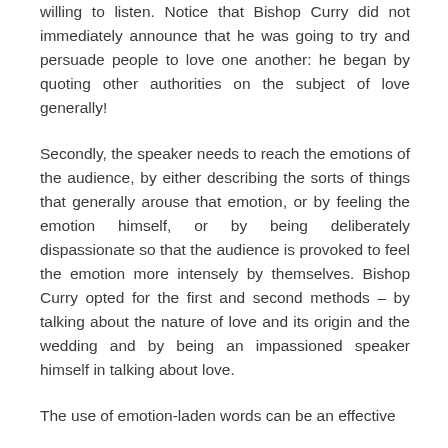willing to listen. Notice that Bishop Curry did not immediately announce that he was going to try and persuade people to love one another: he began by quoting other authorities on the subject of love generally!
Secondly, the speaker needs to reach the emotions of the audience, by either describing the sorts of things that generally arouse that emotion, or by feeling the emotion himself, or by being deliberately dispassionate so that the audience is provoked to feel the emotion more intensely by themselves. Bishop Curry opted for the first and second methods – by talking about the nature of love and its origin and the wedding and by being an impassioned speaker himself in talking about love.
The use of emotion-laden words can be an effective